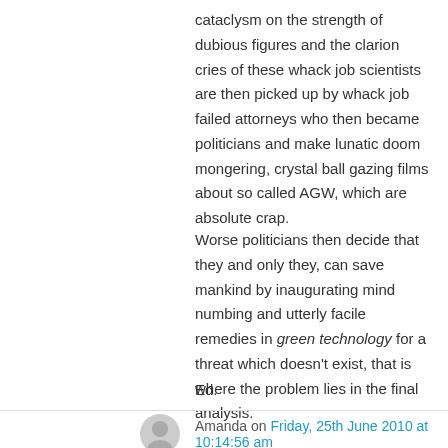cataclysm on the strength of dubious figures and the clarion cries of these whack job scientists are then picked up by whack job failed attorneys who then became politicians and make lunatic doom mongering, crystal ball gazing films about so called AGW, which are absolute crap.
Worse politicians then decide that they and only they, can save mankind by inaugurating mind numbing and utterly facile remedies in green technology for a threat which doesn't exist, that is where the problem lies in the final analysis.
Ed.
Amanda on Friday, 25th June 2010 at 10:14:56 am